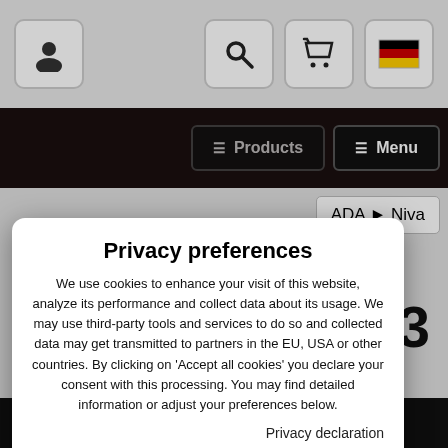[Figure (screenshot): Website header with user icon button on left and search, cart, German flag icon buttons on right, on a light gray background]
[Figure (screenshot): Dark navigation bar with Products and Menu buttons]
ADA ▶ Niva
2013
Privacy preferences
We use cookies to enhance your visit of this website, analyze its performance and collect data about its usage. We may use third-party tools and services to do so and collected data may get transmitted to partners in the EU, USA or other countries. By clicking on 'Accept all cookies' you declare your consent with this processing. You may find detailed information or adjust your preferences below.
Privacy declaration
Show details
Accept all cookies